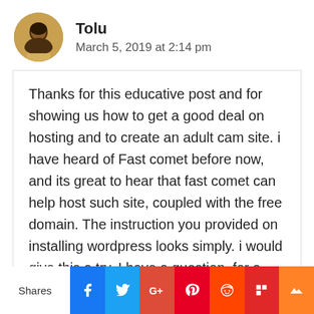[Figure (photo): Circular avatar photo of a man named Tolu]
Tolu
March 5, 2019 at 2:14 pm
Thanks for this educative post and for showing us how to get a good deal on hosting and to create an adult cam site. i have heard of Fast comet before now, and its great to hear that fast comet can help host such site, coupled with the free domain. The instruction you provided on installing wordpress looks simply. i would give this a try. I have a question, for a newbie someone new to adult cam site affiliate program, which of
Shares | Facebook | Twitter | Google+ | Pinterest | Reddit | Flipboard | Mix